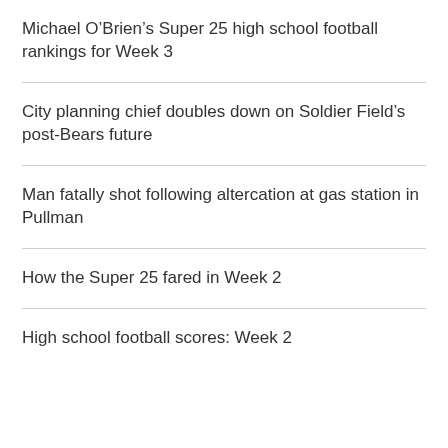Michael O’Brien’s Super 25 high school football rankings for Week 3
City planning chief doubles down on Soldier Field’s post-Bears future
Man fatally shot following altercation at gas station in Pullman
How the Super 25 fared in Week 2
High school football scores: Week 2